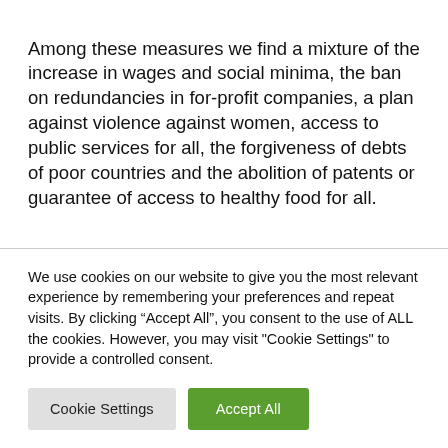Among these measures we find a mixture of the increase in wages and social minima, the ban on redundancies in for-profit companies, a plan against violence against women, access to public services for all, the forgiveness of debts of poor countries and the abolition of patents or guarantee of access to healthy food for all.
We use cookies on our website to give you the most relevant experience by remembering your preferences and repeat visits. By clicking “Accept All”, you consent to the use of ALL the cookies. However, you may visit "Cookie Settings" to provide a controlled consent.